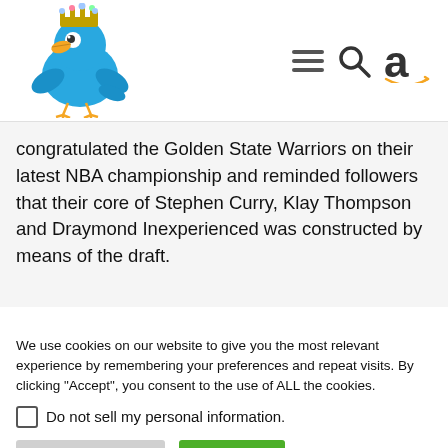[Figure (illustration): Blue cartoon Twitter bird wearing a crown/tiara logo in top-left header area]
[Figure (illustration): Navigation icons: hamburger menu (three lines), magnifying glass search icon, and Amazon 'a' logo with smile curve]
congratulated the Golden State Warriors on their latest NBA championship and reminded followers that their core of Stephen Curry, Klay Thompson and Draymond Inexperienced was constructed by means of the draft.
We use cookies on our website to give you the most relevant experience by remembering your preferences and repeat visits. By clicking “Accept”, you consent to the use of ALL the cookies.
Do not sell my personal information.
Cookie Settings
Accept